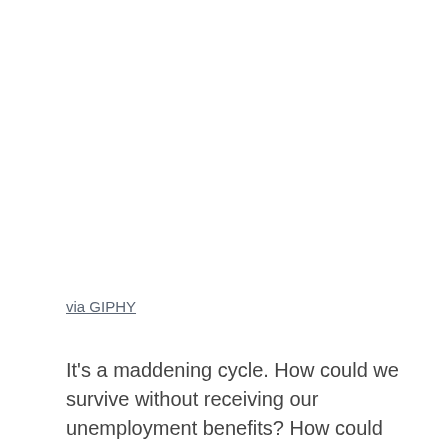via GIPHY
It's a maddening cycle. How could we survive without receiving our unemployment benefits? How could we find jobs while most businesses were closing down or cutting their staff? So much